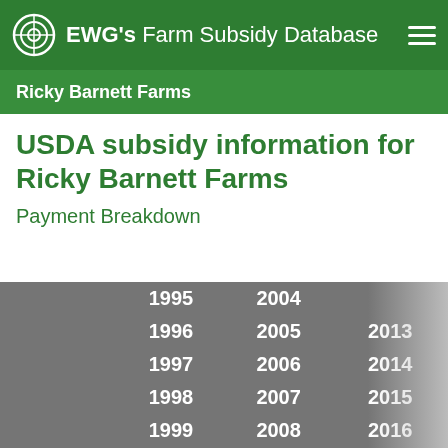EWG's Farm Subsidy Database
Ricky Barnett Farms
USDA subsidy information for Ricky Barnett Farms
Payment Breakdown
| Subsidy Program | 1995 | 1996 | 1997 | 1998 | 1999 | 2000 | 2001 | 2002 | 2003 | 2004 | 2005 | 2006 | 2007 | 2008 | 2009 | 2010 | 2011 | 2012 | 2013 | 2014 | 2015 | 2016 | 2017 | 2018 | 2019 | 2020 |
| --- | --- | --- | --- | --- | --- | --- | --- | --- | --- | --- | --- | --- | --- | --- | --- | --- | --- | --- | --- | --- | --- | --- | --- | --- | --- | --- |